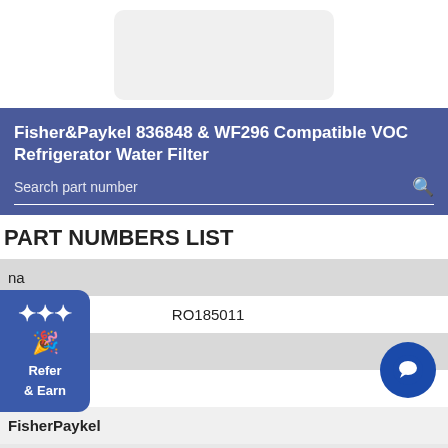[Figure (photo): Product image placeholder, light gray rounded rectangle]
Fisher&Paykel 836848 & WF296 Compatible VOC Refrigerator Water Filter
Search part number
PART NUMBERS LIST
| na |
| 662 | RO185011 |
| aqua |
| 017A |
| FisherPaykel |
| 836848 | 836868 | F480B | F440B | F580B |